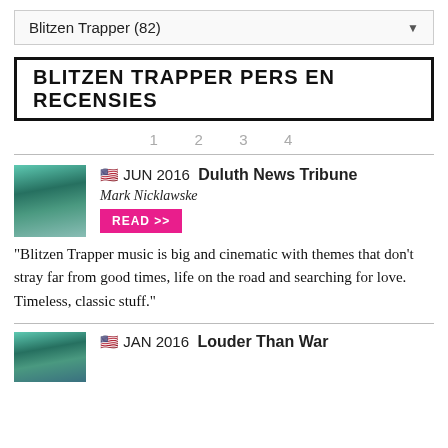Blitzen Trapper (82)
BLITZEN TRAPPER PERS EN RECENSIES
1  2  3  4
🇺🇸 JUN 2016  Duluth News Tribune
Mark Nicklawske
READ >>
"Blitzen Trapper music is big and cinematic with themes that don't stray far from good times, life on the road and searching for love. Timeless, classic stuff."
🇺🇸 JAN 2016  Louder Than War